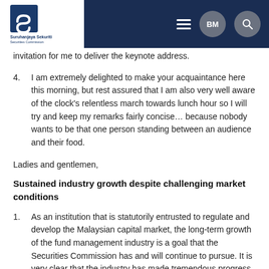Suruhanjaya Sekuriti Securities Commission Malaysia | BM | Search
invitation for me to deliver the keynote address.
4. I am extremely delighted to make your acquaintance here this morning, but rest assured that I am also very well aware of the clock's relentless march towards lunch hour so I will try and keep my remarks fairly concise… because nobody wants to be that one person standing between an audience and their food.
Ladies and gentlemen,
Sustained industry growth despite challenging market conditions
1. As an institution that is statutorily entrusted to regulate and develop the Malaysian capital market, the long-term growth of the fund management industry is a goal that the Securities Commission has and will continue to pursue. It is very clear that the industry has made tremendous progress since its early days, which speaks volumes about the efforts